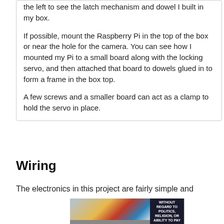the left to see the latch mechanism and dowel I built in my box.
If possible, mount the Raspberry Pi in the top of the box or near the hole for the camera. You can see how I mounted my Pi to a small board along with the locking servo, and then attached that board to dowels glued in to form a frame in the box top.
A few screws and a smaller board can act as a clamp to hold the servo in place.
Wiring
The electronics in this project are fairly simple and
[Figure (photo): Advertisement image showing an airplane being loaded with cargo, with a dark banner text overlay reading 'WITHOUT REGARD TO POLITICS, RELIGION, OR ABILITY TO PAY']